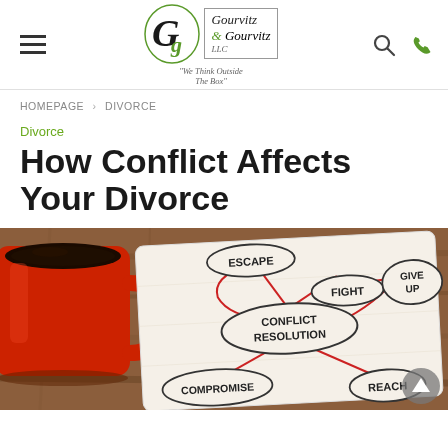Gourvitz & Gourvitz LLC — We Think Outside The Box
HOMEPAGE > DIVORCE
Divorce
How Conflict Affects Your Divorce
[Figure (photo): A conflict resolution mind map drawn on a white napkin beside a red coffee mug on a wood table. The napkin shows bubbles labeled: ESCAPE, FIGHT, GIVE UP, CONFLICT RESOLUTION, COMPROMISE, REACH, connected by red lines.]